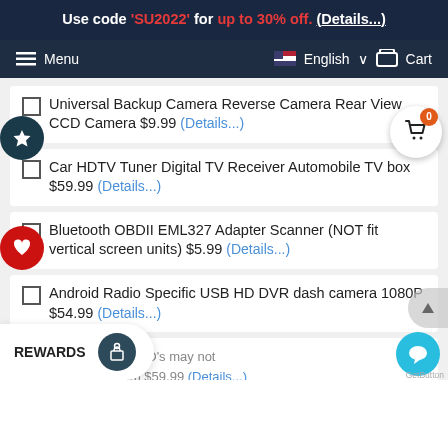Use code 'SU2022' for up to 30% off. (Details...)
Menu  English  Cart
Universal Backup Camera Reverse Camera Rear View CCD Camera $9.99 (Details...)
Car HDTV Tuner Digital TV Receiver Automobile TV box $59.99 (Details...)
Bluetooth OBDII EML327 Adapter Scanner (NOT fit vertical screen units) $5.99 (Details...)
Android Radio Specific USB HD DVR dash camera 1080P $54.99 (Details...)
(Some movie DVD's may not work on Android head units) $59.99 (Details...)
REWARDS